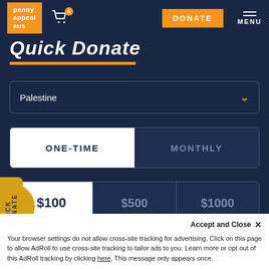penny appeal aus | DONATE | MENU
Quick Donate
Palestine
ONE-TIME | MONTHLY
$100 | $500 | $1000
QUICK DONATE
Accept and Close ✕
Your browser settings do not allow cross-site tracking for advertising. Click on this page to allow AdRoll to use cross-site tracking to tailor ads to you. Learn more or opt out of this AdRoll tracking by clicking here. This message only appears once.